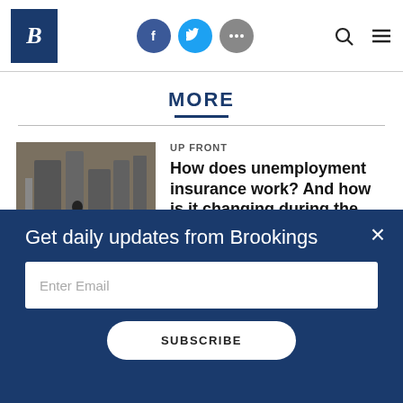Brookings Institution website header with logo, social icons (Facebook, Twitter, More), search and menu icons
MORE
[Figure (photo): Industrial or warehouse interior with machinery and equipment]
UP FRONT
How does unemployment insurance work? And how is it changing during the coronavirus pandemic?
Manuel Alcalá Kovalski and Louise
Get daily updates from Brookings
Enter Email
SUBSCRIBE